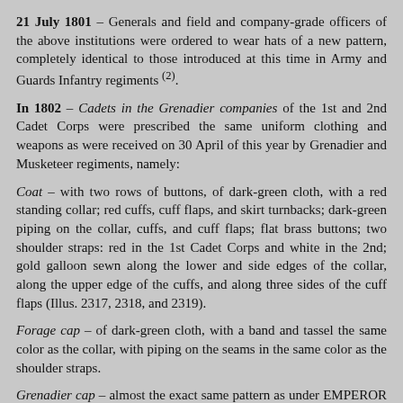21 July 1801 – Generals and field and company-grade officers of the above institutions were ordered to wear hats of a new pattern, completely identical to those introduced at this time in Army and Guards Infantry regiments (2).
In 1802 – Cadets in the Grenadier companies of the 1st and 2nd Cadet Corps were prescribed the same uniform clothing and weapons as were received on 30 April of this year by Grenadier and Musketeer regiments, namely:
Coat – with two rows of buttons, of dark-green cloth, with a red standing collar; red cuffs, cuff flaps, and skirt turnbacks; dark-green piping on the collar, cuffs, and cuff flaps; flat brass buttons; two shoulder straps: red in the 1st Cadet Corps and white in the 2nd; gold galloon sewn along the lower and side edges of the collar, along the upper edge of the cuffs, and along three sides of the cuff flaps (Illus. 2317, 2318, and 2319).
Forage cap – of dark-green cloth, with a band and tassel the same color as the collar, with piping on the seams in the same color as the shoulder straps.
Grenadier cap – almost the exact same pattern as under EMPEROR PAUL I, namely: with a brass front plate, three brass grenades behind, along the sides, and along upper edge of the front...